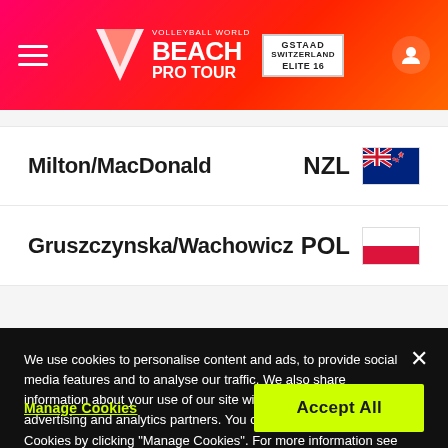[Figure (logo): Volleyball World Beach Pro Tour logo with Gstaad Switzerland Elite 16 event badge in pink/red header]
Milton/MacDonald NZL
Gruszczynska/Wachowicz POL
We use cookies to personalise content and ads, to provide social media features and to analyse our traffic. We also share information about your use of our site with our social media, advertising and analytics partners. You can set the use of Cookies by clicking "Manage Cookies". For more information see our Cookie Policy and our Data Protection Information. Cookie Policy
Manage Cookies
Accept All